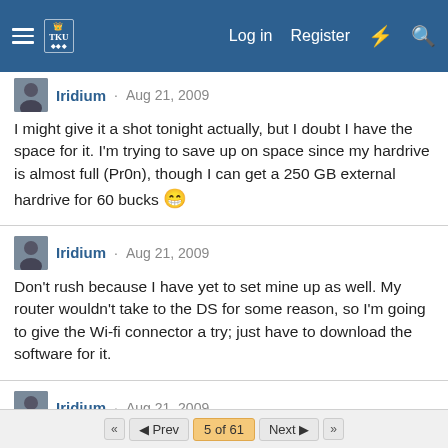TKU forum navigation bar with Log in, Register, and search icons
Iridium · Aug 21, 2009
I might give it a shot tonight actually, but I doubt I have the space for it. I'm trying to save up on space since my hardrive is almost full (Pr0n), though I can get a 250 GB external hardrive for 60 bucks 😁
Iridium · Aug 21, 2009
Don't rush because I have yet to set mine up as well. My router wouldn't take to the DS for some reason, so I'm going to give the Wi-fi connector a try; just have to download the software for it.
Iridium · Aug 21, 2009
Nice, and it's a dragon type move <: .... damnit I want a charizard now.
◄◄  ◄ Prev  5 of 61  Next ►  ►►